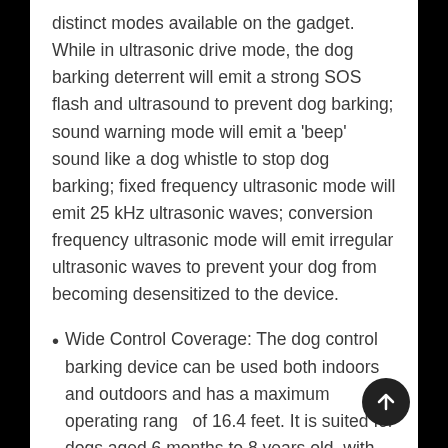distinct modes available on the gadget. While in ultrasonic drive mode, the dog barking deterrent will emit a strong SOS flash and ultrasound to prevent dog barking; sound warning mode will emit a 'beep' sound like a dog whistle to stop dog barking; fixed frequency ultrasonic mode will emit 25 kHz ultrasonic waves; conversion frequency ultrasonic mode will emit irregular ultrasonic waves to prevent your dog from becoming desensitized to the device.
Wide Control Coverage: The dog control barking device can be used both indoors and outdoors and has a maximum operating range of 16.4 feet. It is suited for dogs aged 6 months to 8 years old, with the exception of